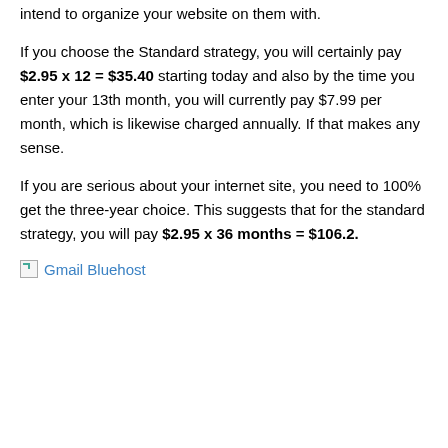intend to organize your website on them with.
If you choose the Standard strategy, you will certainly pay $2.95 x 12 = $35.40 starting today and also by the time you enter your 13th month, you will currently pay $7.99 per month, which is likewise charged annually. If that makes any sense.
If you are serious about your internet site, you need to 100% get the three-year choice. This suggests that for the standard strategy, you will pay $2.95 x 36 months = $106.2.
[Figure (photo): Broken image placeholder with link text 'Gmail Bluehost' in blue]